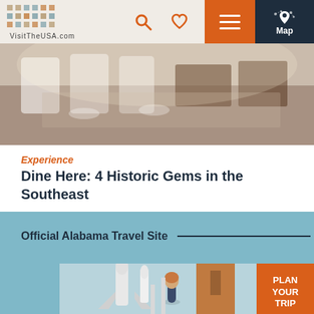VisitTheUSA.com
[Figure (screenshot): Website navigation header with VisitTheUSA.com logo, search icon, heart/favorites icon, hamburger menu on orange background, and map button on dark navy background]
[Figure (photo): Interior dining room photograph showing tables with white chairs and wooden furniture, softly lit]
Experience
Dine Here: 4 Historic Gems in the Southeast
Official Alabama Travel Site
[Figure (photo): Photo of a young woman standing beneath a large white rocket/space shuttle display at what appears to be Space Camp or US Space & Rocket Center in Huntsville, Alabama]
PLAN YOUR TRIP